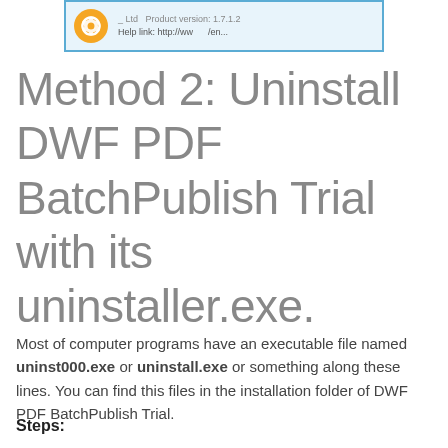[Figure (screenshot): Screenshot showing a software product info panel with an orange gear icon, product version 1.7.1.2 and help link partially visible]
Method 2: Uninstall DWF PDF BatchPublish Trial with its uninstaller.exe.
Most of computer programs have an executable file named uninst000.exe or uninstall.exe or something along these lines. You can find this files in the installation folder of DWF PDF BatchPublish Trial.
Steps: